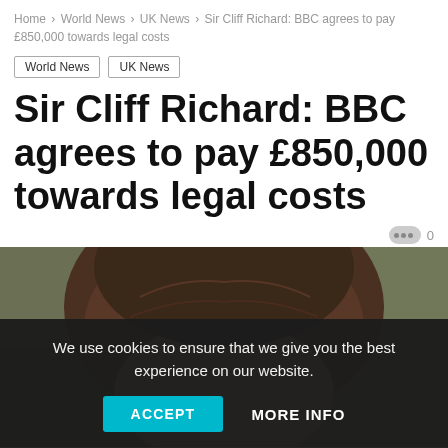Home > World News > UK News > Sir Cliff Richard: BBC agrees to pay £850,000 towards legal costs
World News
UK News
Sir Cliff Richard: BBC agrees to pay £850,000 towards legal costs
[Figure (photo): Partial photo of a person's head and forehead, showing brown hair from the top, appearing to be Sir Cliff Richard]
We use cookies to ensure that we give you the best experience on our website.
ACCEPT  MORE INFO